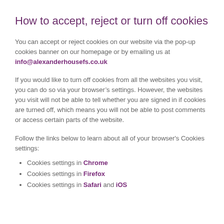How to accept, reject or turn off cookies
You can accept or reject cookies on our website via the pop-up cookies banner on our homepage or by emailing us at info@alexanderhousefs.co.uk
If you would like to turn off cookies from all the websites you visit, you can do so via your browser’s settings. However, the websites you visit will not be able to tell whether you are signed in if cookies are turned off, which means you will not be able to post comments or access certain parts of the website.
Follow the links below to learn about all of your browser's Cookies settings:
Cookies settings in Chrome
Cookies settings in Firefox
Cookies settings in Safari and iOS